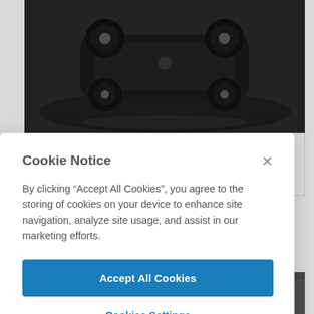[Figure (photo): Black 1967 Chevrolet Corvette Convertible photographed from above on a reflective dark surface, showing wheels and top of car]
1967 Chevrolet Corvette Convertible
Cookie Notice
By clicking "Accept All Cookies", you agree to the storing of cookies on your device to enhance site navigation, analyze site usage, and assist in our marketing efforts.
Accept All Cookies
Cookies Settings
[Figure (photo): Partial bottom image of another vehicle or person, partially visible at bottom of page]